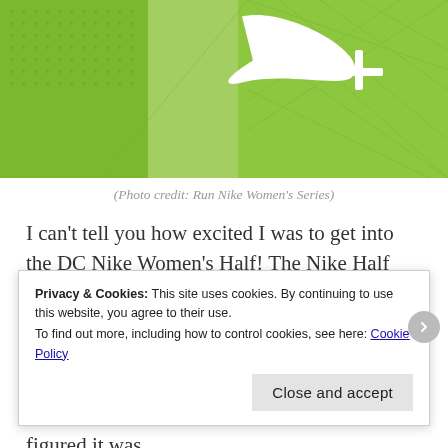[Figure (logo): Nike+ logo on green geometric patterned background banner]
(Photo credit: Run Nike Women's Series)
I can't tell you how excited I was to get into the DC Nike Women's Half! The Nike Half Marathon was a race that I had wanted to run for a while but it was out in San Francisco and I'm not a fan of hills or the cost of traveling to the west coast. So when Nike announced that it was organizing a race in Washington, DC, I figured it was
Privacy & Cookies: This site uses cookies. By continuing to use this website, you agree to their use.
To find out more, including how to control cookies, see here: Cookie Policy
[Close and accept]